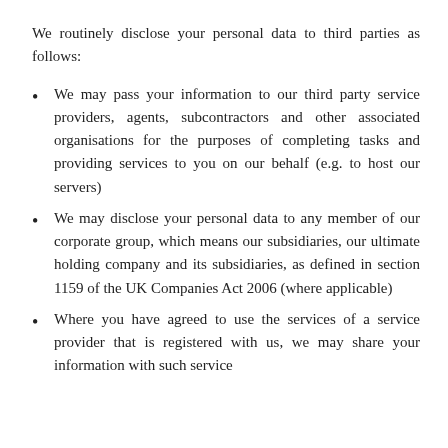We routinely disclose your personal data to third parties as follows:
We may pass your information to our third party service providers, agents, subcontractors and other associated organisations for the purposes of completing tasks and providing services to you on our behalf (e.g. to host our servers)
We may disclose your personal data to any member of our corporate group, which means our subsidiaries, our ultimate holding company and its subsidiaries, as defined in section 1159 of the UK Companies Act 2006 (where applicable)
Where you have agreed to use the services of a service provider that is registered with us, we may share your information with such service